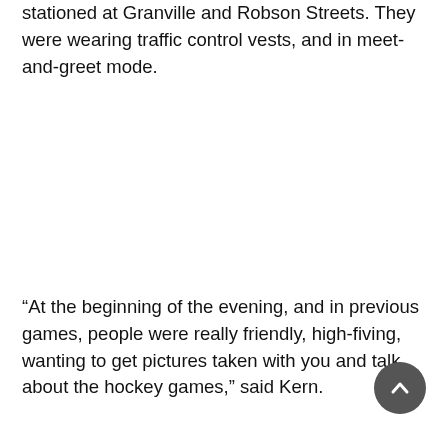stationed at Granville and Robson Streets. They were wearing traffic control vests, and in meet-and-greet mode.
“At the beginning of the evening, and in previous games, people were really friendly, high-fiving, wanting to get pictures taken with you and talk about the hockey games,” said Kern.